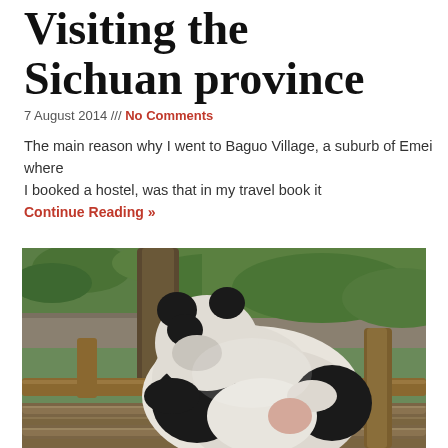Visiting the Sichuan province
7 August 2014 /// No Comments
The main reason why I went to Baguo Village, a suburb of Emei where I booked a hostel, was that in my travel book it
Continue Reading »
[Figure (photo): A giant panda resting on wooden logs in an enclosure, with green trees and vegetation in the background.]